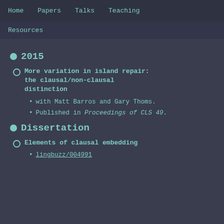Home   Papers   Talks   Teaching
Resources
2015
More variation in island repair: the clausal/non-clausal distinction
with Matt Barros and Gary Thoms.
Published in Proceedings of CLS 49.
Dissertation
Elements of clausal embedding
lingbuzz/004991